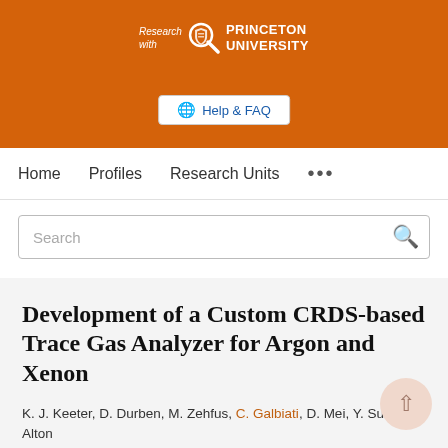[Figure (logo): Princeton University 'Research with Princeton University' logo on orange background with magnifying glass and shield icon]
[Figure (screenshot): Help & FAQ button with globe icon]
Home   Profiles   Research Units   ...
Search
Development of a Custom CRDS-based Trace Gas Analyzer for Argon and Xenon
K. J. Keeter, D. Durben, M. Zehfus, C. Galbiati, D. Mei, Y. Sun, A. Alton
Physics